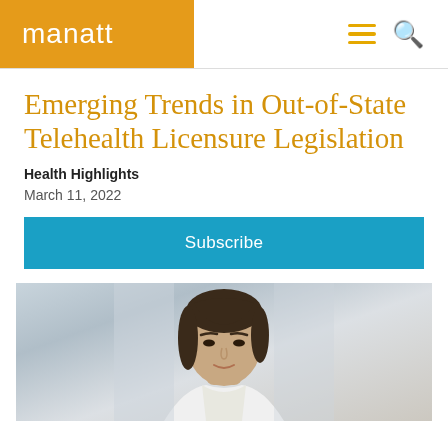manatt
Emerging Trends in Out-of-State Telehealth Licensure Legislation
Health Highlights
March 11, 2022
Subscribe
[Figure (photo): Professional headshot photo of a woman with dark hair against a light blurred background]